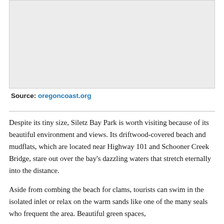[Figure (photo): Photograph placeholder area showing a light grey box representing an image of Siletz Bay Park]
Source: oregoncoast.org
Despite its tiny size, Siletz Bay Park is worth visiting because of its beautiful environment and views. Its driftwood-covered beach and mudflats, which are located near Highway 101 and Schooner Creek Bridge, stare out over the bay's dazzling waters that stretch eternally into the distance.
Aside from combing the beach for clams, tourists can swim in the isolated inlet or relax on the warm sands like one of the many seals who frequent the area. Beautiful green spaces,